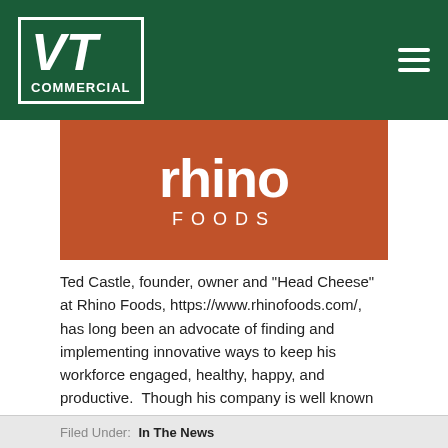VT COMMERCIAL
[Figure (logo): Rhino Foods logo — orange/rust background with white lowercase 'rhino' text in large rounded font and 'FOODS' in spaced capitals below]
Ted Castle, founder, owner and "Head Cheese" at Rhino Foods, https://www.rhinofoods.com/, has long been an advocate of finding and implementing innovative ways to keep his workforce engaged, healthy, happy, and productive. Though his company is well known for its frozen cookie dough, best tasted in ... [Read more...]
Filed Under: In The News